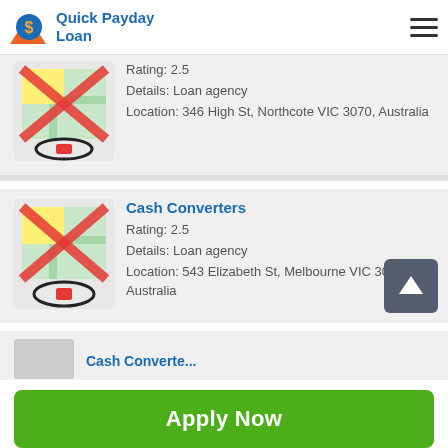Quick Payday Loan
[Figure (screenshot): Map pin icon with red X overlay and circled pencil/location marker — loan agency map icon (first card, partial)]
Rating: 2.5
Details: Loan agency
Location: 346 High St, Northcote VIC 3070, Australia
[Figure (screenshot): Map pin icon with red X overlay and circled pencil/location marker — loan agency map icon (Cash Converters card)]
Cash Converters
Rating: 2.5
Details: Loan agency
Location: 543 Elizabeth St, Melbourne VIC 3000, Australia
[Figure (screenshot): Partial thumbnail of third listing (Cash Converters)]
Cash Converte...
Apply Now
Applying does NOT affect your credit score!
No credit check to apply.